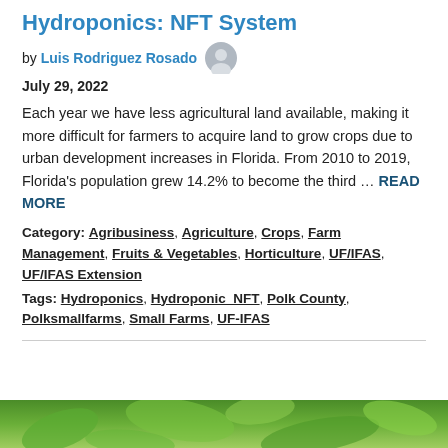Hydroponics: NFT System
by Luis Rodriguez Rosado
July 29, 2022
Each year we have less agricultural land available, making it more difficult for farmers to acquire land to grow crops due to urban development increases in Florida. From 2010 to 2019, Florida's population grew 14.2% to become the third … READ MORE
Category: Agribusiness, Agriculture, Crops, Farm Management, Fruits & Vegetables, Horticulture, UF/IFAS, UF/IFAS Extension
Tags: Hydroponics, Hydroponic_NFT, Polk County, Polksmallfarms, Small Farms, UF-IFAS
[Figure (photo): Green plant foliage image strip at the bottom of the page]